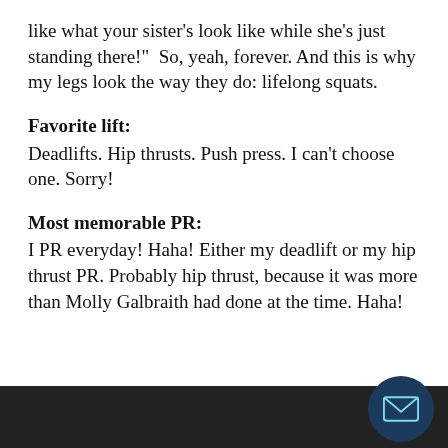like what your sister’s look like while she’s just standing there!”  So, yeah, forever. And this is why my legs look the way they do: lifelong squats.
Favorite lift:
Deadlifts. Hip thrusts. Push press. I can’t choose one. Sorry!
Most memorable PR:
I PR everyday! Haha! Either my deadlift or my hip thrust PR. Probably hip thrust, because it was more than Molly Galbraith had done at the time. Haha!
[Figure (other): Dark banner/bar at bottom of page with a circular email icon button in the lower right corner]